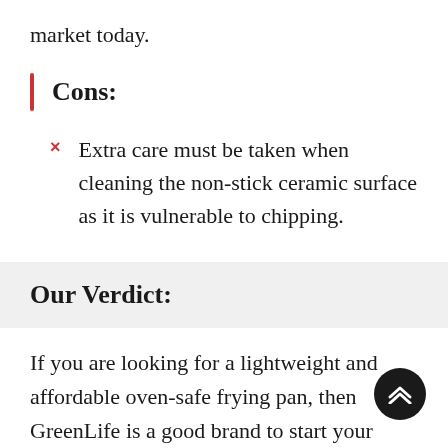market today.
Cons:
Extra care must be taken when cleaning the non-stick ceramic surface as it is vulnerable to chipping.
Our Verdict:
If you are looking for a lightweight and affordable oven-safe frying pan, then GreenLife is a good brand to start your